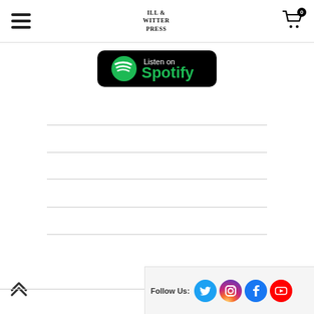Navigation header with hamburger menu, site logo, and shopping cart (0 items)
[Figure (logo): Listen on Spotify badge — black rounded rectangle with Spotify logo (green concentric arcs) and text 'Listen on Spotify' in white/green]
Follow Us: [Twitter] [Instagram] [Facebook] [YouTube]